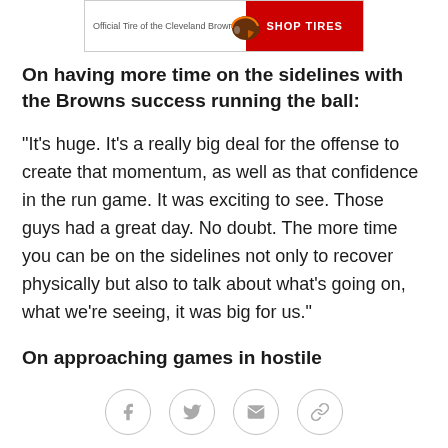[Figure (other): Advertisement banner for Official Tire of the Cleveland Browns with a red Shop Tires button and helmet logo]
On having more time on the sidelines with the Browns success running the ball:
"It's huge. It's a really big deal for the offense to create that momentum, as well as that confidence in the run game. It was exciting to see. Those guys had a great day. No doubt. The more time you can be on the sidelines not only to recover physically but also to talk about what's going on, what we're seeing, it was big for us."
On approaching games in hostile environments:
"I don't think there is anything special you can do. You just have to get out there. You have to take it all in when
Social share icons: Facebook, Twitter, Email, Link